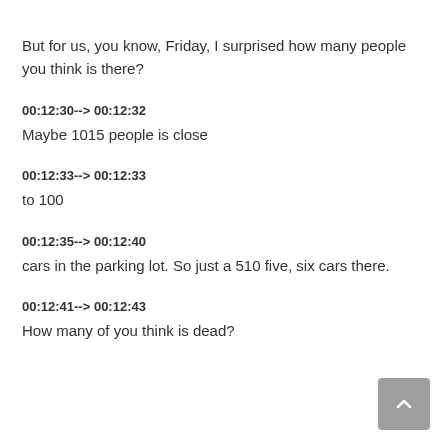But for us, you know, Friday, I surprised how many people you think is there?
00:12:30--> 00:12:32
Maybe 1015 people is close
00:12:33--> 00:12:33
to 100
00:12:35--> 00:12:40
cars in the parking lot. So just a 510 five, six cars there.
00:12:41--> 00:12:43
How many of you think is dead?